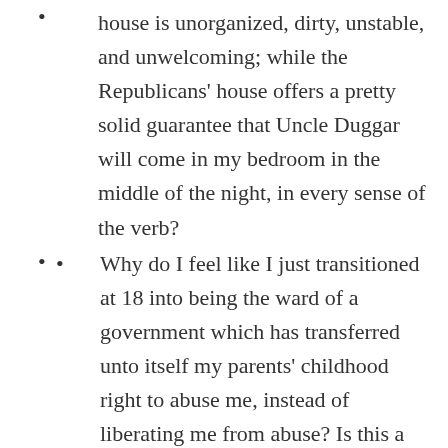house is unorganized, dirty, unstable, and unwelcoming; while the Republicans' house offers a pretty solid guarantee that Uncle Duggar will come in my bedroom in the middle of the night, in every sense of the verb?
Why do I feel like I just transitioned at 18 into being the ward of a government which has transferred unto itself my parents' childhood right to abuse me, instead of liberating me from abuse? Is this a childhood nightmare I'm going to wake up from? When? How?
Should I refrain from publishing these truths publicly, to protect my mother's feelings? I always felt sad for Eminem's mother when he said he was 'sorry but cleaning out his closet.' But cleaning out that closet is also how he moved from 8 Mile to being able to provide for his child